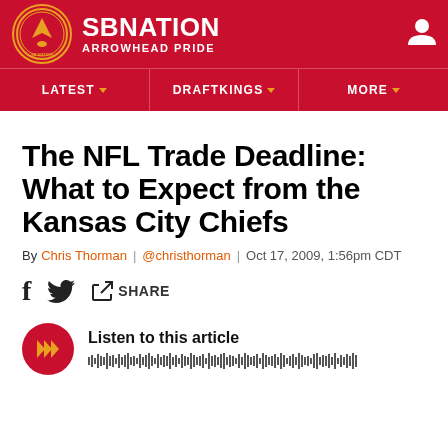SB NATION — ARROWHEAD PRIDE
The NFL Trade Deadline: What to Expect from the Kansas City Chiefs
By Chris Thorman | @christhorman | Oct 17, 2009, 1:56pm CDT
SHARE
Listen to this article